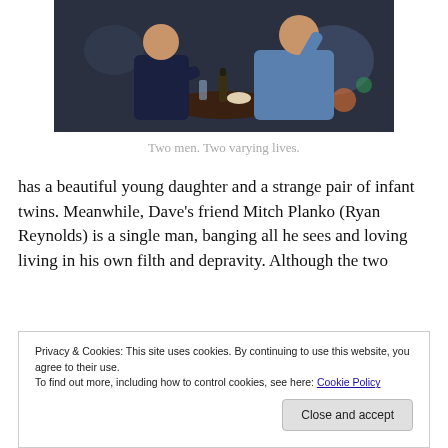[Figure (photo): Two men sitting at a round table, one in a dark suit and one in a light blue shirt, appearing to be in conversation at a bar or restaurant setting.]
Two men. Two varying lives.
has a beautiful young daughter and a strange pair of infant twins. Meanwhile, Dave's friend Mitch Planko (Ryan Reynolds) is a single man, banging all he sees and loving living in his own filth and depravity. Although the two
Privacy & Cookies: This site uses cookies. By continuing to use this website, you agree to their use.
To find out more, including how to control cookies, see here: Cookie Policy